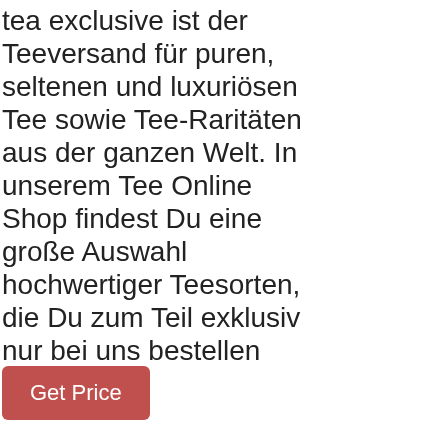tea exclusive ist der Teeversand für puren, seltenen und luxuriösen Tee sowie Tee-Raritäten aus der ganzen Welt. In unserem Tee Online Shop findest Du eine große Auswahl hochwertiger Teesorten, die Du zum Teil exklusiv nur bei uns bestellen kannst.
Get Price